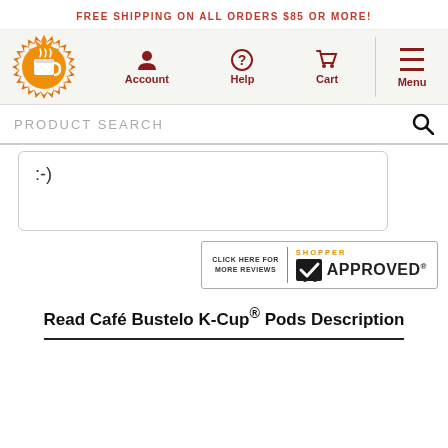FREE SHIPPING ON ALL ORDERS $85 OR MORE!
[Figure (logo): Coffee cup logo with sunburst/starburst background in orange and yellow]
Account
Help
Cart
Menu
PRODUCT SEARCH
:-)
[Figure (logo): Shopper Approved badge with checkmark - CLICK HERE FOR MORE REVIEWS | SHOPPER APPROVED]
Read Café Bustelo K-Cup® Pods Description